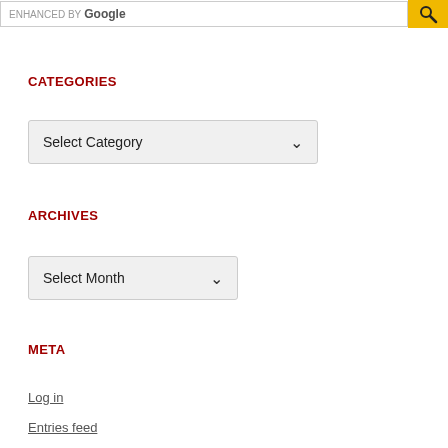ENHANCED BY Google [search button]
CATEGORIES
Select Category
ARCHIVES
Select Month
META
Log in
Entries feed